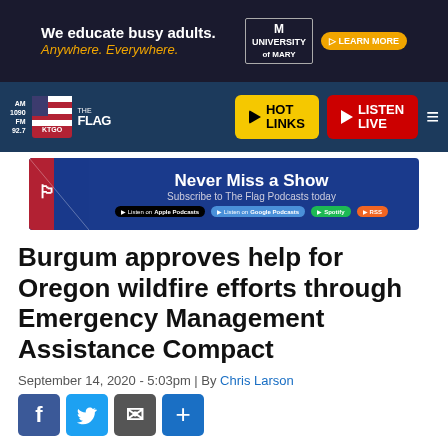[Figure (screenshot): University of Mary advertisement banner: 'We educate busy adults. Anywhere. Everywhere.' with University of Mary logo and orange Learn More button, dark background.]
[Figure (logo): Navigation bar with AM1090 FM92.7 KTGO The Flag radio station logo, Hot Links yellow button, Listen Live red button, and hamburger menu icon on dark blue background.]
[Figure (screenshot): Podcast subscription banner: Never Miss a Show - Subscribe to The Flag Podcasts today, with Apple Podcasts, Google Podcasts, Spotify, RSS icons on blue background.]
Burgum approves help for Oregon wildfire efforts through Emergency Management Assistance Compact
September 14, 2020 - 5:03pm | By Chris Larson
[Figure (screenshot): Social sharing buttons: Facebook, Twitter, Email, and Plus/Share icons in blue squares.]
[Figure (photo): Partial view of Great Seal of North Dakota, circular blue seal showing text 'GREAT SEAL' and 'AND FOR...' (truncated at bottom of page).]